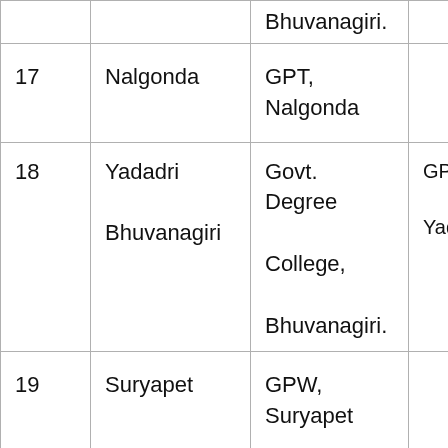| S.No. | District | Institution (Column 3) | Institution (Column 4) |
| --- | --- | --- | --- |
|  |  | Bhuvanagiri. |  |
| 17 | Nalgonda | GPT, Nalgonda |  |
| 18 | Yadadri Bhuvanagiri | Govt. Degree College, Bhuvanagiri. | GPT, Yadag |
| 19 | Suryapet | GPW, Suryapet |  |
| 20 | Mahabubnagar | GPT, Mahabubnagar |  |
| 21 | Nagarkurnool | Govt. Degree College, Nagar... | KDRG Wana |